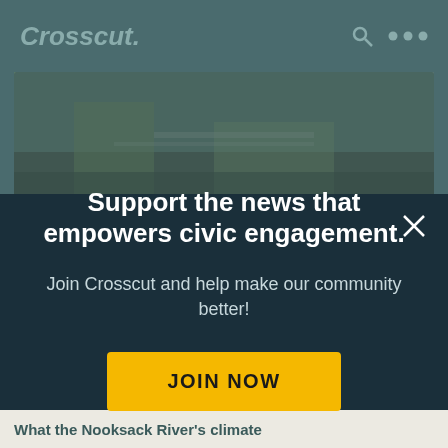Crosscut.
[Figure (photo): Outdoor scene, likely a river or urban waterway area, muted tones with teal/green overlay]
Support the news that empowers civic engagement.
Join Crosscut and help make our community better!
JOIN NOW
What the Nooksack River's climate